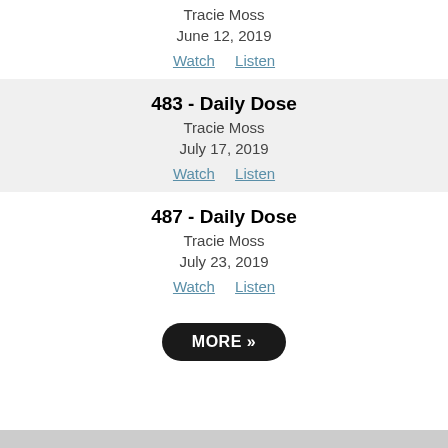Tracie Moss
June 12, 2019
Watch  Listen
483 - Daily Dose
Tracie Moss
July 17, 2019
Watch  Listen
487 - Daily Dose
Tracie Moss
July 23, 2019
Watch  Listen
MORE »